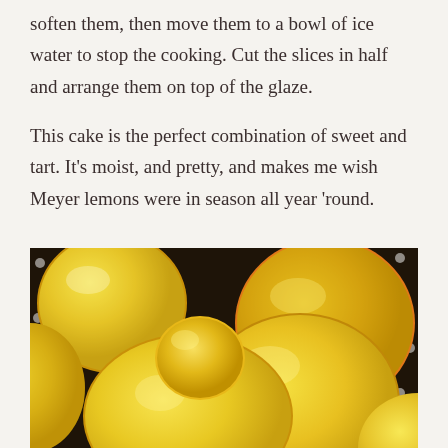soften them, then move them to a bowl of ice water to stop the cooking. Cut the slices in half and arrange them on top of the glaze.
This cake is the perfect combination of sweet and tart. It's moist, and pretty, and makes me wish Meyer lemons were in season all year 'round.
[Figure (photo): Close-up photograph of Meyer lemons piled together on a dark polka-dot fabric background. The lemons are bright yellow-orange, showing their glossy textured skin. Multiple lemons fill the frame.]